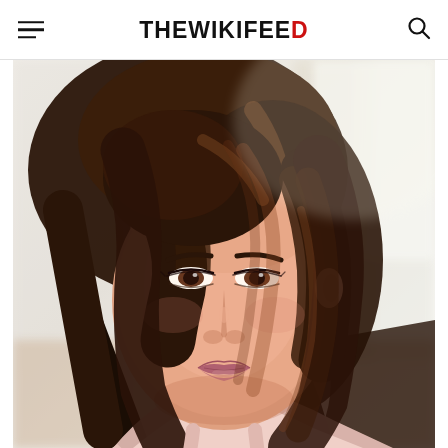THEWIKIFEED
[Figure (photo): Portrait photo of a young woman with long wavy brown hair, wearing a light pink top, soft smile, photographed against a bright blurred background. Displayed on TheWikiFeed website.]